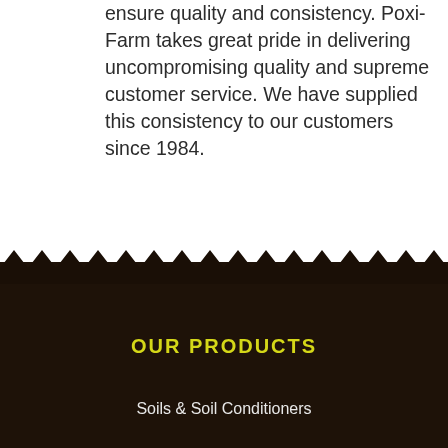ensure quality and consistency. Poxi-Farm takes great pride in delivering uncompromising quality and supreme customer service. We have supplied this consistency to our customers since 1984.
[Figure (illustration): Dark brown soil texture section with zigzag/mountain-peak border at the top dividing white background above from dark soil background below]
OUR PRODUCTS
Soils & Soil Conditioners